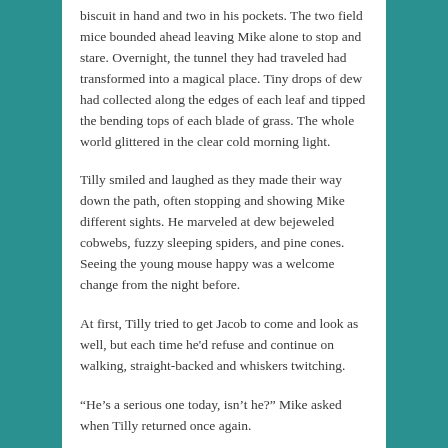biscuit in hand and two in his pockets. The two field mice bounded ahead leaving Mike alone to stop and stare. Overnight, the tunnel they had traveled had transformed into a magical place. Tiny drops of dew had collected along the edges of each leaf and tipped the bending tops of each blade of grass. The whole world glittered in the clear cold morning light.
Tilly smiled and laughed as they made their way down the path, often stopping and showing Mike different sights. He marveled at dew bejeweled cobwebs, fuzzy sleeping spiders, and pine cones. Seeing the young mouse happy was a welcome change from the night before.
At first, Tilly tried to get Jacob to come and look as well, but each time he'd refuse and continue on walking, straight-backed and whiskers twitching.
“He’s a serious one today, isn’t he?” Mike asked when Tilly returned once again.
“He isn’t always like this, there must be something on his mind. That, or he’s trying to impress you.”